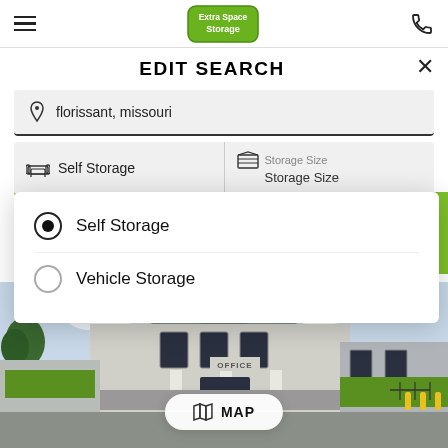Extra Space Storage — navigation header with hamburger menu, logo, and phone icon
EDIT SEARCH
florissant, missouri
Self Storage | Storage Size / Storage Size
Self Storage (selected)
Vehicle Storage
[Figure (screenshot): Building exterior photo of Extra Space Storage facility with MAP button overlay]